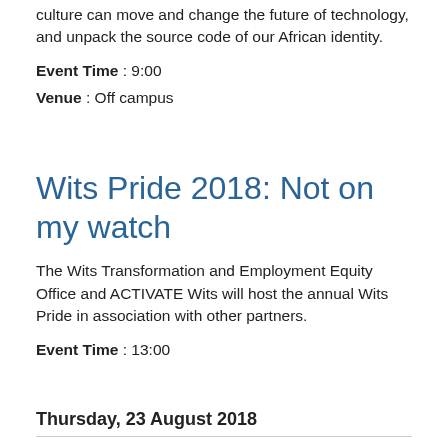culture can move and change the future of technology, and unpack the source code of our African identity.
Event Time : 9:00
Venue : Off campus
Wits Pride 2018: Not on my watch
The Wits Transformation and Employment Equity Office and ACTIVATE Wits will host the annual Wits Pride in association with other partners.
Event Time : 13:00
Thursday, 23 August 2018